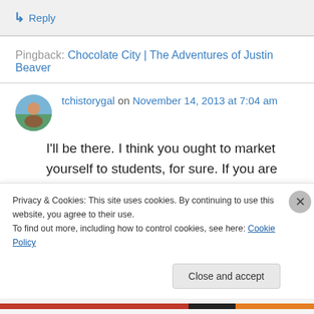↳ Reply
Pingback: Chocolate City | The Adventures of Justin Beaver
tchistorygal on November 14, 2013 at 7:04 am
I'll be there. I think you ought to market yourself to students, for sure. If you are going to be a tour guide, there must be a map skill or two that kids
Privacy & Cookies: This site uses cookies. By continuing to use this website, you agree to their use.
To find out more, including how to control cookies, see here: Cookie Policy